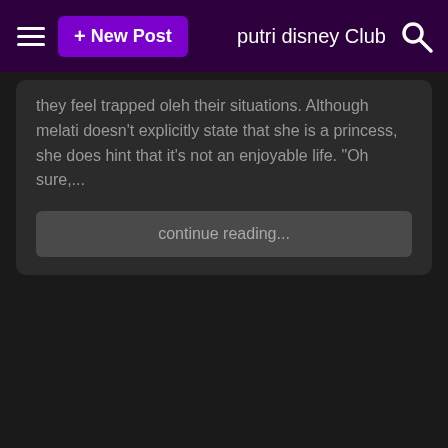☰  + New Post   putri disney Club  🔍
they feel trapped oleh their situations. Although melati doesn't explicitly state that she is a princess, she does hint that it's not an enjoyable life. "Oh sure,...
continue reading...